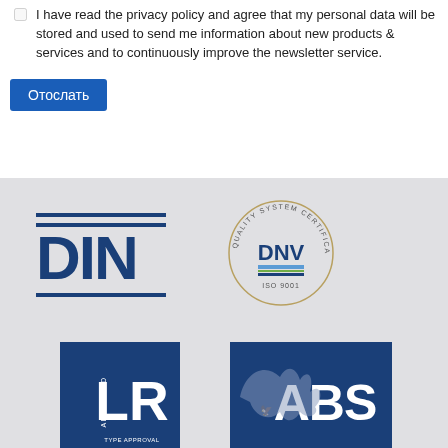I have read the privacy policy and agree that my personal data will be stored and used to send me information about new products & services and to continuously improve the newsletter service.
Отослать
[Figure (logo): DIN logo - blue horizontal bars above and below bold DIN text]
[Figure (logo): DNV Quality System Certification ISO 9001 circular stamp logo]
[Figure (logo): LR Lloyd's Register Approved Type Approval Scheme logo in blue square]
[Figure (logo): ABS American Bureau of Shipping logo in blue square with eagle]